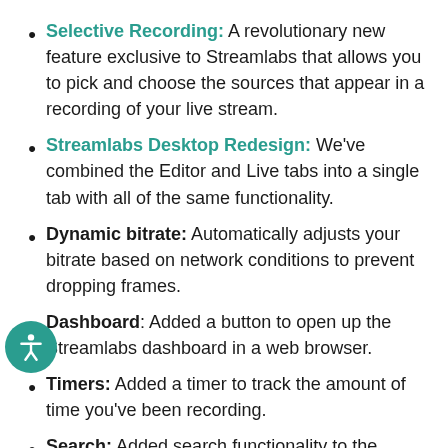Selective Recording: A revolutionary new feature exclusive to Streamlabs that allows you to pick and choose the sources that appear in a recording of your live stream.
Streamlabs Desktop Redesign: We've combined the Editor and Live tabs into a single tab with all of the same functionality.
Dynamic bitrate: Automatically adjusts your bitrate based on network conditions to prevent dropping frames.
Dashboard: Added a button to open up the Streamlabs dashboard in a web browser.
Timers: Added a timer to track the amount of time you've been recording.
Search: Added search functionality to the settings window to quickly locate and adjust...